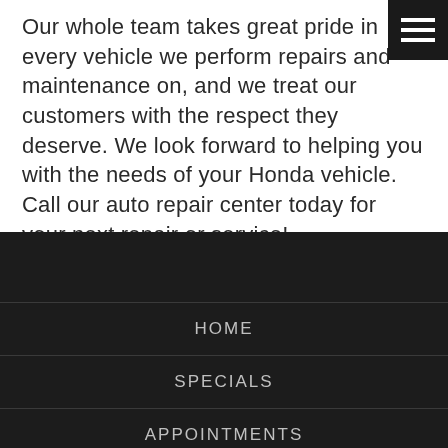Our whole team takes great pride in every vehicle we perform repairs and maintenance on, and we treat our customers with the respect they deserve. We look forward to helping you with the needs of your Honda vehicle. Call our auto repair center today for your next repair or service!
HOME
SPECIALS
APPOINTMENTS